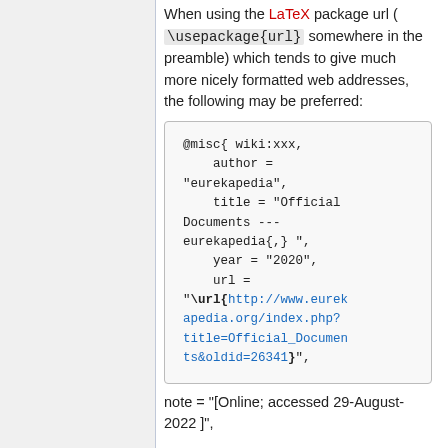When using the LaTeX package url ( \usepackage{url} somewhere in the preamble) which tends to give much more nicely formatted web addresses, the following may be preferred:
@misc{ wiki:xxx,
    author = "eurekapedia",
    title = "Official Documents --- eurekapedia{,} ",
    year = "2020",
    url = "\url{http://www.eurekapedia.org/index.php?title=Official_Documents&oldid=26341}",
note = "[Online; accessed 29-August-2022]"